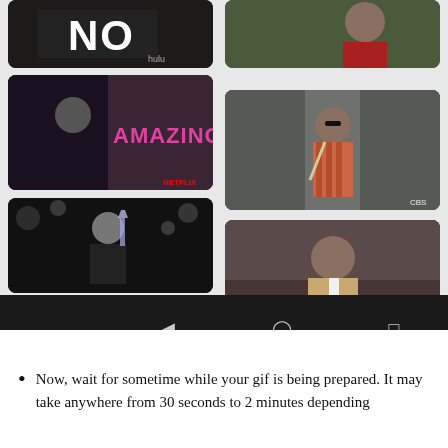[Figure (screenshot): Screenshot of a GIF search app showing a grid of animated GIF thumbnails: a 'NO' GIF from Hulu, an 'AMAZING' GIF from Netflix featuring a woman in black, a Great Gatsby champagne toast GIF, a partially visible red/black GIF, a man in red shirt GIF, a woman walking in striped dress GIF, and a woman saying 'I'M SO PROUD OF YOU' GIF. Below the thumbnails is an Android navigation bar with back, home, and recents buttons.]
Now, wait for sometime while your gif is being prepared. It may take anywhere from 30 seconds to 2 minutes depending